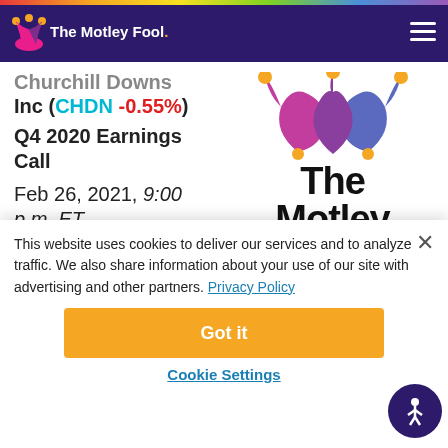The Motley Fool
Churchill Downs Inc (CHDN -0.55%) Q4 2020 Earnings Call
Feb 26, 2021, 9:00 p.m. ET
[Figure (logo): The Motley Fool jester hat logo with 'The Motley' text below]
This website uses cookies to deliver our services and to analyze traffic. We also share information about your use of our site with advertising and other partners. Privacy Policy
Got it
Cookie Settings